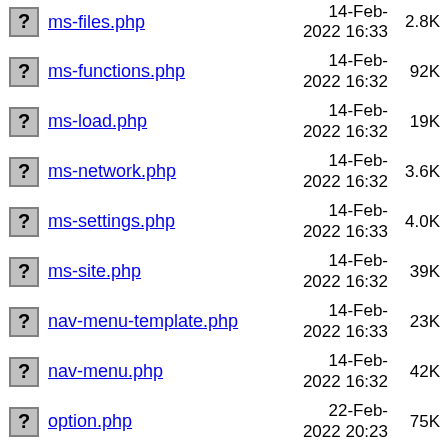ms-files.php  14-Feb-2022 16:33  2.8K
ms-functions.php  14-Feb-2022 16:32  92K
ms-load.php  14-Feb-2022 16:32  19K
ms-network.php  14-Feb-2022 16:32  3.6K
ms-settings.php  14-Feb-2022 16:33  4.0K
ms-site.php  14-Feb-2022 16:32  39K
nav-menu-template.php  14-Feb-2022 16:33  23K
nav-menu.php  14-Feb-2022 16:32  42K
option.php  22-Feb-2022 20:23  75K
php-compat/  14-Feb-2022 16:33  -
pluggable-deprecated.php  14-Feb-2022 16:32  6.1K
pluggable.php  14-Feb-2022 16:33  102K